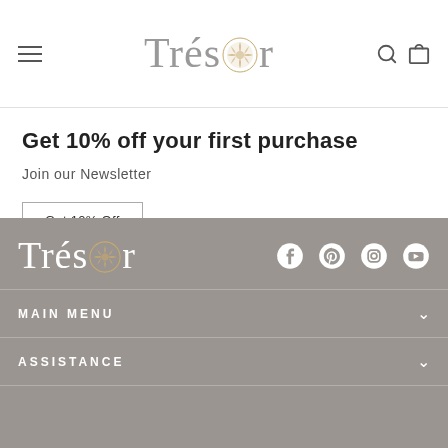Trésor — navigation header with hamburger menu, logo, search and cart icons
Get 10% off your first purchase
Join our Newsletter
Get 10% Off
Trésor footer with social icons (Facebook, Pinterest, Instagram, YouTube), MAIN MENU, ASSISTANCE